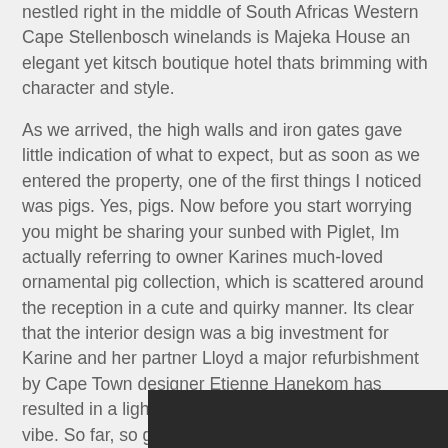nestled right in the middle of South Africas Western Cape Stellenbosch winelands is Majeka House an elegant yet kitsch boutique hotel thats brimming with character and style.
As we arrived, the high walls and iron gates gave little indication of what to expect, but as soon as we entered the property, one of the first things I noticed was pigs. Yes, pigs. Now before you start worrying you might be sharing your sunbed with Piglet, Im actually referring to owner Karines much-loved ornamental pig collection, which is scattered around the reception in a cute and quirky manner. Its clear that the interior design was a big investment for Karine and her partner Lloyd a major refurbishment by Cape Town designer Etienne Hanekom has resulted in a light, airy ambiance with a fun, theatrical vibe. So far, so good.
[Figure (photo): Bottom portion of a dark photograph, partially visible at the bottom of the page.]